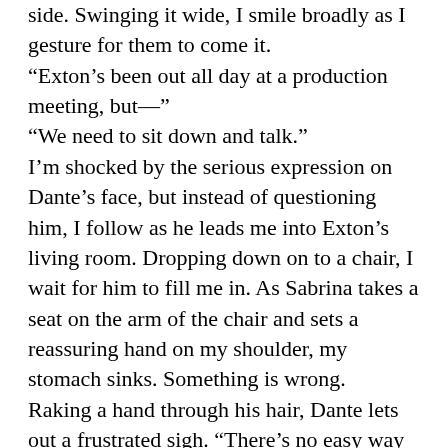side.  Swinging it wide, I smile broadly as I gesture for them to come it.
“Exton’s been out all day at a production meeting, but—”
“We need to sit down and talk.”
I’m shocked by the serious expression on Dante’s face, but instead of questioning him, I follow as he leads me into Exton’s living room.  Dropping down on to a chair, I wait for him to fill me in.  As Sabrina takes a seat on the arm of the chair and sets a reassuring hand on my shoulder, my stomach sinks.  Something is wrong.
Raking a hand through his hair, Dante lets out a frustrated sigh.  “There’s no easy way to say this, so I’m just going to give it to you straight.  Exton’s been arrested for assault.  He’s in jail.”
Jumping from my seat I cry out in shock. “What the hell are we doing sitting?  We need to go get him out!”
“There’s nothing that we can do until tomorrow,” He answers. “His bail hearing will happen in the morning.  I need you to pack so that we can be there.”